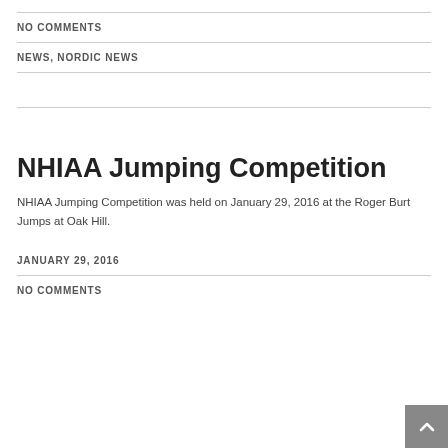NO COMMENTS
NEWS, NORDIC NEWS
NHIAA Jumping Competition
NHIAA Jumping Competition was held on January 29, 2016 at the Roger Burt Jumps at Oak Hill.
JANUARY 29, 2016
NO COMMENTS